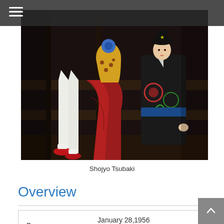[Figure (illustration): A painting titled 'Shojyo Tsubaki' showing anime/manga-style figures including a character with white legs and red shoes, wearing a yellow dress, sitting next to a figure in a black kimono with colorful circular patterns, on what appears to be wooden steps or shelves. Dark dramatic background.]
Shojyo Tsubaki
Overview
|  |  |
| --- | --- |
| Born | January 28,1956
Nagasaki,Japan |